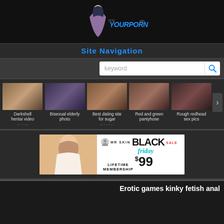[Figure (logo): Website logo with anime character and site name text]
Site Navigation
[Figure (screenshot): Search bar with keyword placeholder and search icon]
[Figure (photo): Row of 5 thumbnail images with captions: Darkshell hentai video online, Bisexual elderly photo, Best dating site for sugar ..., Red and green pantyhose, Rough redhead sex pics]
[Figure (photo): Mr Skin Black Friday Sale - Lifetime Membership $99 advertisement banner]
Erotic games kinky fetish anal